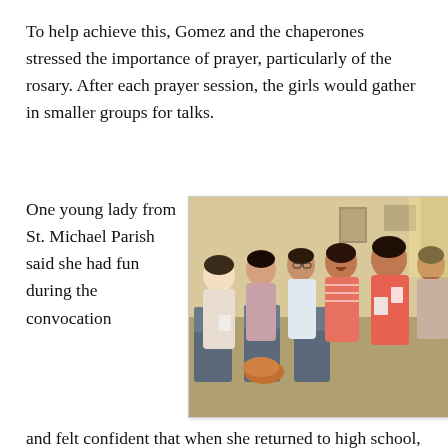To help achieve this, Gomez and the chaperones stressed the importance of prayer, particularly of the rosary. After each prayer session, the girls would gather in smaller groups for talks.
One young lady from St. Michael Parish said she had fun during the convocation
[Figure (photo): Group of young women seated in chairs at a convocation or gathering, some smiling and talking, in a room with beige walls.]
and felt confident that when she returned to high school, she would be a stronger woman who was not shy about her faith...